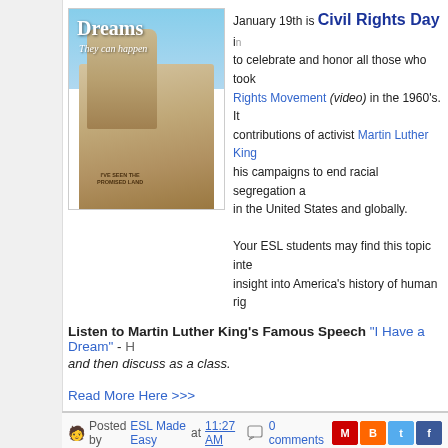[Figure (photo): Photo of Martin Luther King Jr. memorial statue with 'Dreams - They can happen' text overlay]
January 19th is Civil Rights Day in to celebrate and honor all those who took Rights Movement (video) in the 1960's. It contributions of activist Martin Luther King his campaigns to end racial segregation a in the United States and globally.
Your ESL students may find this topic inte insight into America's history of human rig
Listen to Martin Luther King's Famous Speech "I Have a Dream" - h and then discuss as a class.
Read More Here >>>
Posted by ESL Made Easy at 11:27 AM  0 comments  Labels: Martin Luther King